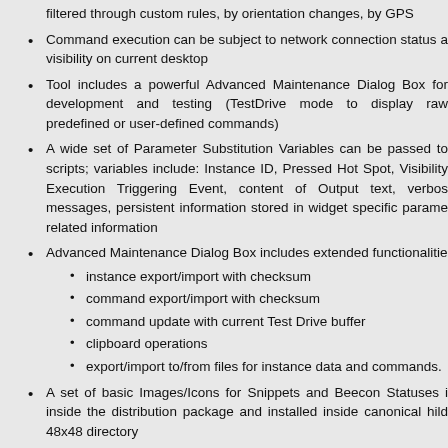filtered through custom rules, by orientation changes, by GPS
Command execution can be subject to network connection status a visibility on current desktop
Tool includes a powerful Advanced Maintenance Dialog Box for development and testing (TestDrive mode to display raw predefined or user-defined commands)
A wide set of Parameter Substitution Variables can be passed to scripts; variables include: Instance ID, Pressed Hot Spot, Visibility Execution Triggering Event, content of Output text, verbos messages, persistent information stored in widget specific parame related information
Advanced Maintenance Dialog Box includes extended functionalitie
instance export/import with checksum
command export/import with checksum
command update with current Test Drive buffer
clipboard operations
export/import to/from files for instance data and commands.
A set of basic Images/Icons for Snippets and Beecon Statuses i inside the distribution package and installed inside canonical hild 48x48 directory